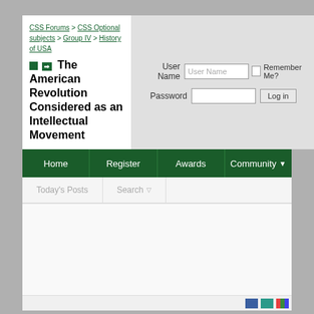CSS Forums > CSS Optional subjects > Group IV > History of USA > The American Revolution Considered as an Intellectual Movement
The American Revolution Considered as an Intellectual Movement
[Figure (screenshot): Login panel with User Name and Password fields, Remember Me checkbox, and Log in button]
Home | Register | Awards | Community
Today's Posts | Search
Footer icons row